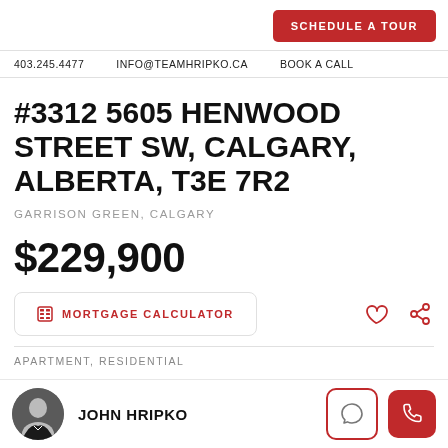SCHEDULE A TOUR
403.245.4477   INFO@TEAMHRIPKO.CA   BOOK A CALL
#3312 5605 HENWOOD STREET SW, CALGARY, ALBERTA, T3E 7R2
GARRISON GREEN, CALGARY
$229,900
MORTGAGE CALCULATOR
APARTMENT, RESIDENTIAL
JOHN HRIPKO